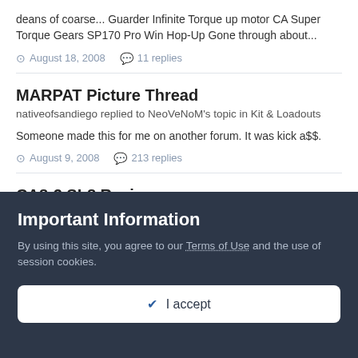deans of coarse... Guarder Infinite Torque up motor CA Super Torque Gears SP170 Pro Win Hop-Up Gone through about...
August 18, 2008  •  11 replies
MARPAT Picture Thread
nativeofsandiego replied to NeoVeNoM's topic in Kit & Loadouts
Someone made this for me on another forum. It was kick a$$.
August 9, 2008  •  213 replies
CA8-2 SL8 Review
Important Information
By using this site, you agree to our Terms of Use and the use of session cookies.
✔ I accept